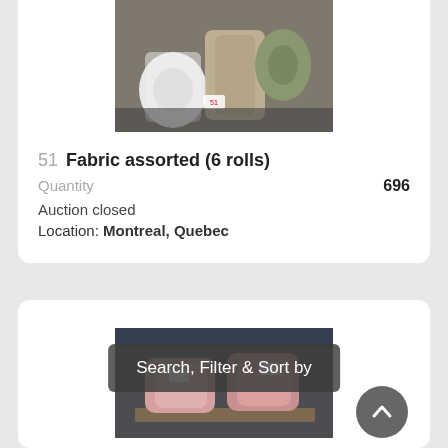[Figure (photo): Photo of assorted fabric rolls, white thread spools and rolled fabric bolts on a shelf with price tags]
51  Fabric assorted (6 rolls)
Quantity  696
Auction closed
Location: Montreal, Quebec
[Figure (photo): Photo of pink/rose colored fabric rolls stacked on a pallet in a warehouse]
Search, Filter & Sort by